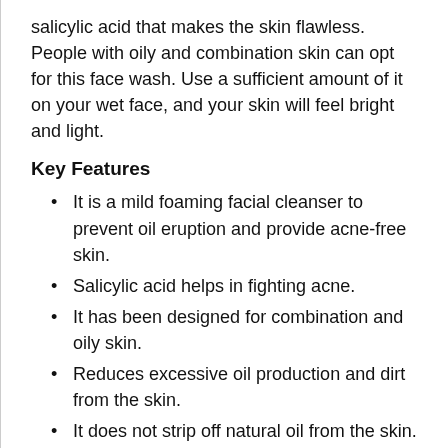salicylic acid that makes the skin flawless. People with oily and combination skin can opt for this face wash. Use a sufficient amount of it on your wet face, and your skin will feel bright and light.
Key Features
It is a mild foaming facial cleanser to prevent oil eruption and provide acne-free skin.
Salicylic acid helps in fighting acne.
It has been designed for combination and oily skin.
Reduces excessive oil production and dirt from the skin.
It does not strip off natural oil from the skin.
Treats acne and breakouts.